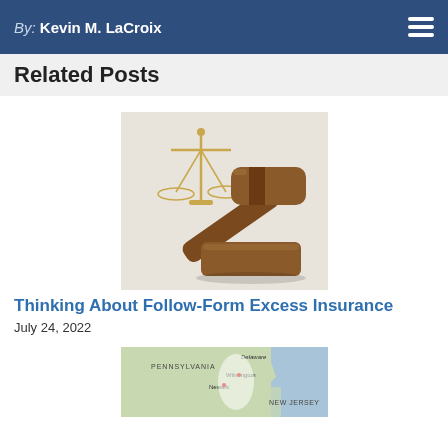By: Kevin M. LaCroix
Related Posts
[Figure (photo): A wooden judge's gavel resting on a sound block, with a gold balance of justice scales in the background, on a white surface.]
Thinking About Follow-Form Excess Insurance
July 24, 2022
[Figure (map): A map showing the Mid-Atlantic region of the United States including Pennsylvania, New Jersey, Delaware, and surrounding areas with city labels including Wilmington, Newark, and others.]